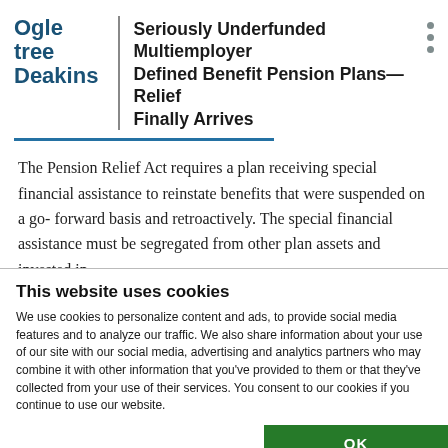Ogletree Deakins — Seriously Underfunded Multiemployer Defined Benefit Pension Plans—Relief Finally Arrives
The Pension Relief Act requires a plan receiving special financial assistance to reinstate benefits that were suspended on a go-forward basis and retroactively. The special financial assistance must be segregated from other plan assets and invested in
This website uses cookies
We use cookies to personalize content and ads, to provide social media features and to analyze our traffic. We also share information about your use of our site with our social media, advertising and analytics partners who may combine it with other information that you've provided to them or that they've collected from your use of their services. You consent to our cookies if you continue to use our website.